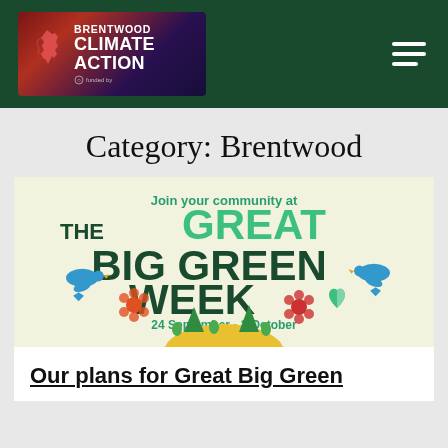Brentwood Climate Action
Category: Brentwood
[Figure (illustration): The Great Big Green Week promotional banner. Text reads: 'Join your community at THE GREAT BIG GREEN WEEK 24 September - 2 October'. Features blue bird illustrations, orange and red flower decorations, green trees, and a yellow hill on a light yellow-green background.]
Our plans for Great Big Green